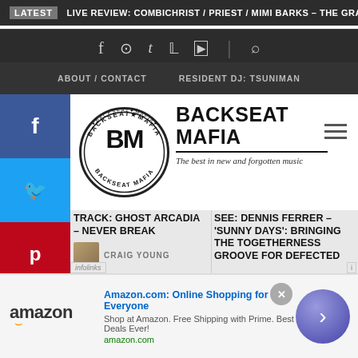LATEST   LIVE REVIEW: COMBICHRIST / PRIEST / MIMI BARKS – THE GRAND S
[Figure (screenshot): Social media icons bar: Facebook, Instagram, Tumblr, Twitter, YouTube, and Search icons on dark background]
ABOUT / CONTACT   RESIDENT DJ: TSUNIMAN
[Figure (logo): Backseat Mafia circular logo with BM monogram]
BACKSEAT MAFIA
The best in new and forgotten music
TRACK: GHOST ARCADIA – NEVER BREAK
CRAIG YOUNG
SEE: DENNIS FERRER – 'SUNNY DAYS': BRINGING THE TOGETHERNESS GROOVE FOR DEFECTED
[Figure (screenshot): Amazon advertisement banner: Amazon.com: Online Shopping for Everyone. Shop at Amazon. Free Shipping with Prime. Best Deals Ever! amazon.com]